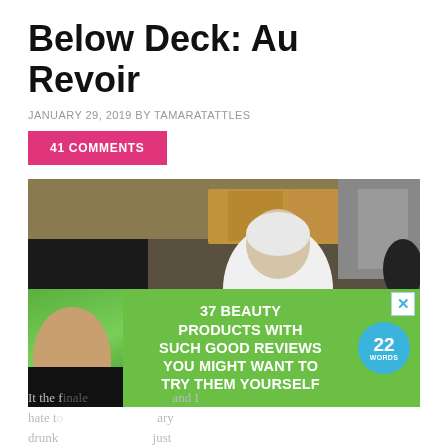Below Deck: Au Revoir
JANUARY 29, 2019 BY TAMARATATTLES
41 COMMENTS
[Figure (photo): A white-haired man in a white shirt leaning over a kitchen counter on a boat, with a person's arm visible in the foreground. Watermark reads TAMARATATTLES.COM. A 'CLOSE' button is visible at the bottom right. An advertisement overlay reads '37 BEAUTY PRODUCTS WITH SUCH GOOD REVIEWS YOU MIGHT WANT TO TRY THEM YOURSELF' with a '22 WORDS' badge and a woman's face.]
It the f[inale] ... and I hate to[...] ...ary drunk [...] just